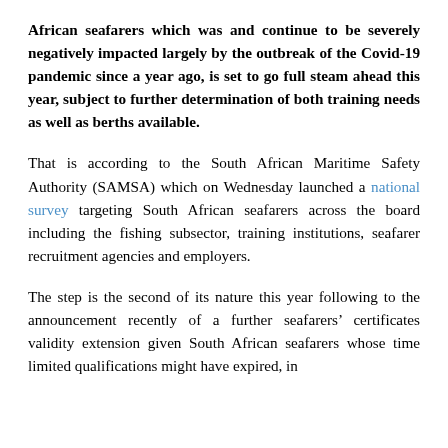African seafarers which was and continue to be severely negatively impacted largely by the outbreak of the Covid-19 pandemic since a year ago, is set to go full steam ahead this year, subject to further determination of both training needs as well as berths available.
That is according to the South African Maritime Safety Authority (SAMSA) which on Wednesday launched a national survey targeting South African seafarers across the board including the fishing subsector, training institutions, seafarer recruitment agencies and employers.
The step is the second of its nature this year following to the announcement recently of a further seafarers' certificates validity extension given South African seafarers whose time limited qualifications might have expired, in